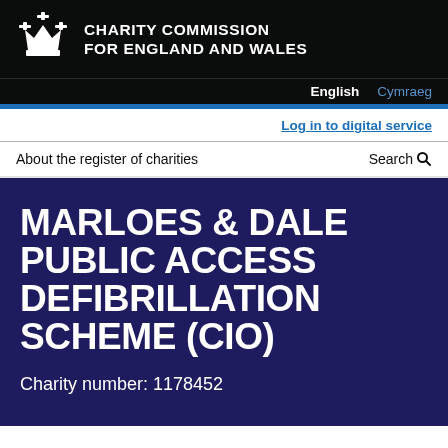[Figure (logo): Charity Commission for England and Wales crown logo and header]
CHARITY COMMISSION FOR ENGLAND AND WALES
English  Cymraeg
Log in to digital service
About the register of charities    Search
MARLOES & DALE PUBLIC ACCESS DEFIBRILLATION SCHEME (CIO)
Charity number: 1178452